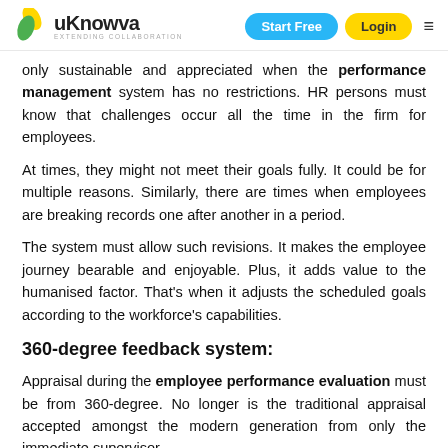uKnowva — Start Free — Login
only sustainable and appreciated when the performance management system has no restrictions. HR persons must know that challenges occur all the time in the firm for employees.
At times, they might not meet their goals fully. It could be for multiple reasons. Similarly, there are times when employees are breaking records one after another in a period.
The system must allow such revisions. It makes the employee journey bearable and enjoyable. Plus, it adds value to the humanised factor. That's when it adjusts the scheduled goals according to the workforce's capabilities.
360-degree feedback system:
Appraisal during the employee performance evaluation must be from 360-degree. No longer is the traditional appraisal accepted amongst the modern generation from only the immediate supervisor.
A modern worker has to team up with multiple vendors
[Figure (other): Talk to our Experts button with yellow dot and green triangle icon]